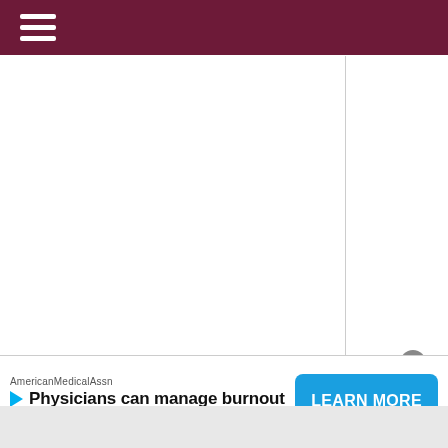Navigation bar with hamburger menu
[Figure (screenshot): Main white content area with vertical divider line on right side]
AmericanMedicalAssn
Physicians can manage burnout
LEARN MORE